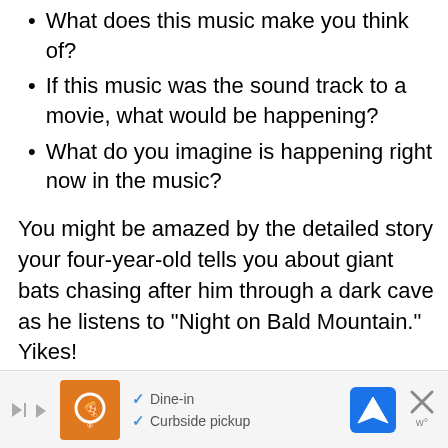What does this music make you think of?
If this music was the sound track to a movie, what would be happening?
What do you imagine is happening right now in the music?
You might be amazed by the detailed story your four-year-old tells you about giant bats chasing after him through a dark cave as he listens to "Night on Bald Mountain." Yikes!
[Figure (infographic): Advertisement banner showing a restaurant logo, dine-in and curbside pickup options, a navigation icon, and a close button.]